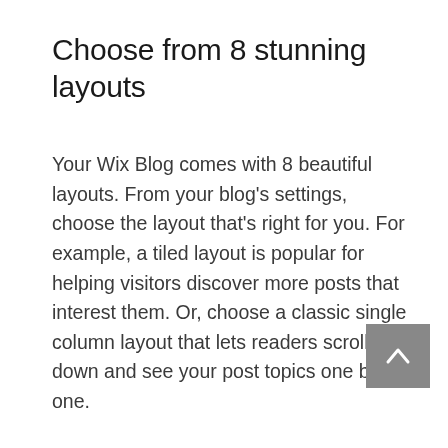Choose from 8 stunning layouts
Your Wix Blog comes with 8 beautiful layouts. From your blog's settings, choose the layout that's right for you. For example, a tiled layout is popular for helping visitors discover more posts that interest them. Or, choose a classic single column layout that lets readers scroll down and see your post topics one by one.
Every layout comes with the latest social features built in. Readers can easily share posts on social networks like Facebook and Twitter and view how many people have liked a post, made comments and more.